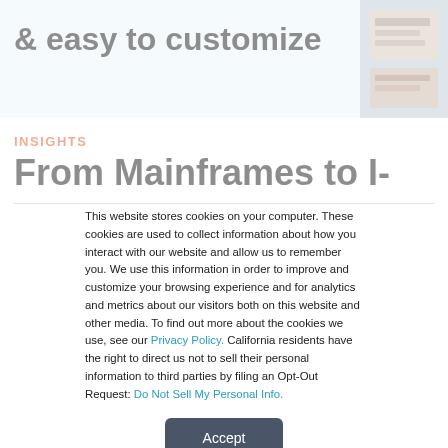& easy to customize
[Figure (photo): Partial photo of a device/magazine in the top-right corner of the banner]
INSIGHTS
From Mainframes to I-
This website stores cookies on your computer. These cookies are used to collect information about how you interact with our website and allow us to remember you. We use this information in order to improve and customize your browsing experience and for analytics and metrics about our visitors both on this website and other media. To find out more about the cookies we use, see our Privacy Policy. California residents have the right to direct us not to sell their personal information to third parties by filing an Opt-Out Request: Do Not Sell My Personal Info.
Accept